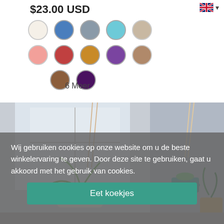$23.00 USD
[Figure (screenshot): Color swatches in two rows: row 1: white/cream, blue, gray, teal/cyan, beige. Row 2: salmon/pink, red, amber/gold, purple, tan/brown. Row 3: brown, dark purple.]
6 Meer
[Figure (photo): Photo of macrame plant hangers with potted plants (spider plant, calathea, succulent) hanging near a window and a wicker basket]
Wij gebruiken cookies op onze website om u de beste winkelervaring te geven. Door deze site te gebruiken, gaat u akkoord met het gebruik van cookies.
Eet koekjes